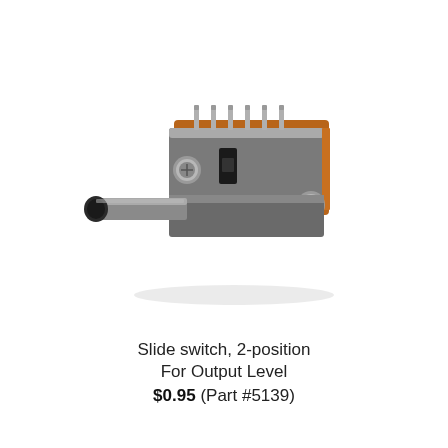[Figure (photo): A slide switch 2-position component, metal body with screws and pins visible, photographed on white background. The switch has a cylindrical actuator protruding from the left side and multiple PCB pins on top.]
Slide switch, 2-position
For Output Level
$0.95 (Part #5139)